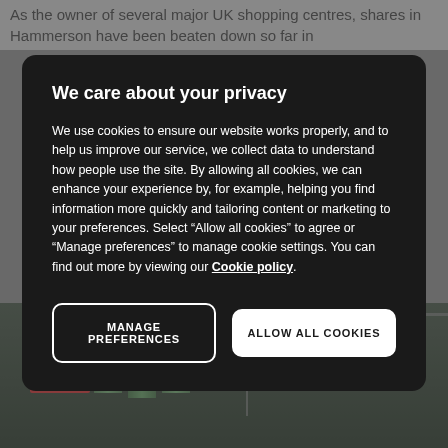As the owner of several major UK shopping centres, shares in Hammerson have been beaten down so far in
We care about your privacy
We use cookies to ensure our website works properly, and to help us improve our service, we collect data to understand how people use the site. By allowing all cookies, we can enhance your experience by, for example, helping you find information more quickly and tailoring content or marketing to your preferences. Select “Allow all cookies” to agree or “Manage preferences” to manage cookie settings. You can find out more by viewing our Cookie policy.
[Figure (screenshot): Two buttons: MANAGE PREFERENCES (outlined, dark background) and ALLOW ALL COOKIES (white background, dark text)]
[Figure (photo): Dark photograph showing industrial or construction site with green cylindrical tanks/silos, red signage on the left, and scaffolding/structures on the right]